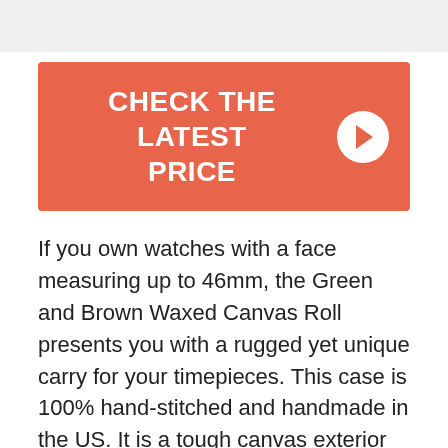[Figure (other): Orange/coral CTA button with text 'CHECK THE LATEST PRICE' and a white circle arrow icon on the right]
If you own watches with a face measuring up to 46mm, the Green and Brown Waxed Canvas Roll presents you with a rugged yet unique carry for your timepieces. This case is 100% hand-stitched and handmade in the US. It is a tough canvas exterior protection a soft suede interior that cushions your watches from damage. Each watch has its designated slot to prevent